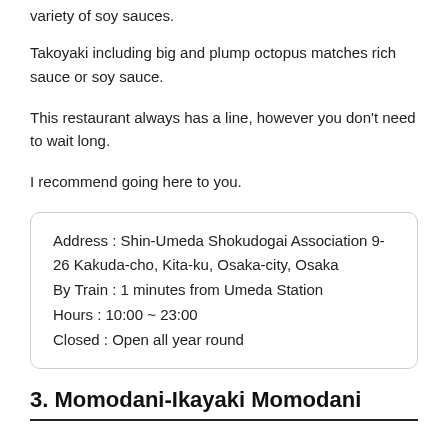variety of soy sauces.
Takoyaki including big and plump octopus matches rich sauce or soy sauce.
This restaurant always has a line, however you don't need to wait long.
I recommend going here to you.
| Address : Shin-Umeda Shokudogai Association 9-26 Kakuda-cho, Kita-ku, Osaka-city, Osaka |
| By Train : 1 minutes from Umeda Station |
| Hours : 10:00 ~ 23:00 |
| Closed : Open all year round |
3. Momodani-Ikayaki Momodani